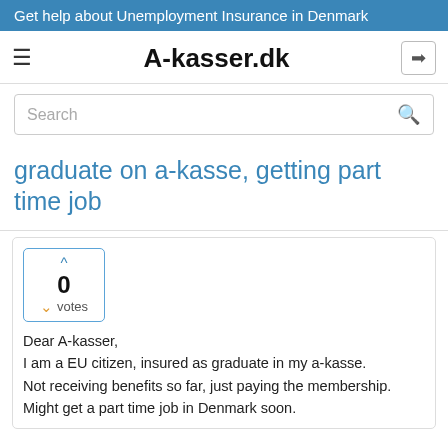Get help about Unemployment Insurance in Denmark
A-kasser.dk
Search
graduate on a-kasse, getting part time job
0
votes
Dear A-kasser,
I am a EU citizen, insured as graduate in my a-kasse.
Not receiving benefits so far, just paying the membership.
Might get a part time job in Denmark soon.